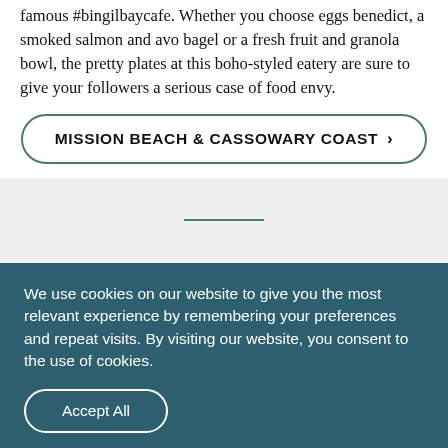famous #bingilbaycafe. Whether you choose eggs benedict, a smoked salmon and avo bagel or a fresh fruit and granola bowl, the pretty plates at this boho-styled eatery are sure to give your followers a serious case of food envy.
MISSION BEACH & CASSOWARY COAST ›
We use cookies on our website to give you the most relevant experience by remembering your preferences and repeat visits. By visiting our website, you consent to the use of cookies.
Accept All